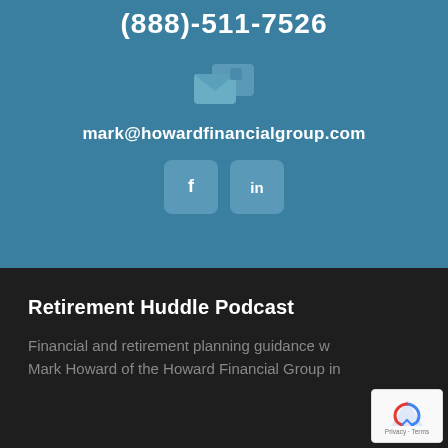(888)-511-7526
[Figure (illustration): Email/message icon showing overlapping envelope and card graphics in muted teal/grey tones]
mark@howardfinancialgroup.com
[Figure (illustration): Two social media icon buttons: Facebook (f logo) and LinkedIn (in logo), rounded square buttons in muted teal]
Retirement Huddle Podcast
Financial and retirement planning guidance with Mark Howard of the Howard Financial Group in...